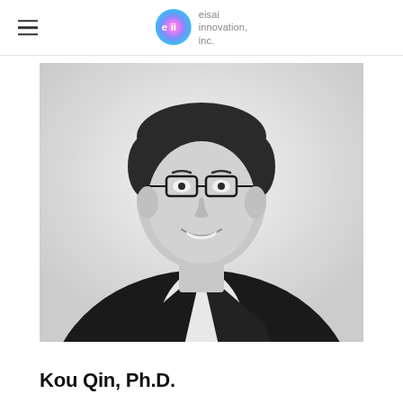eisai innovation, inc.
[Figure (photo): Black and white professional portrait photo of Kou Qin, Ph.D., a man wearing glasses and a dark blazer over a white dress shirt, smiling, with a light background.]
Kou Qin, Ph.D.